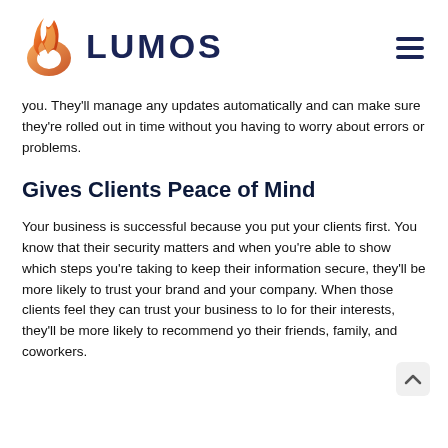[Figure (logo): Lumos logo with flame/swirl icon in orange gradient and 'LUMOS' text in dark navy blue, plus hamburger menu icon on the right]
you. They'll manage any updates automatically and can make sure they're rolled out in time without you having to worry about errors or problems.
Gives Clients Peace of Mind
Your business is successful because you put your clients first. You know that their security matters and when you're able to show which steps you're taking to keep their information secure, they'll be more likely to trust your brand and your company. When those clients feel they can trust your business to lo for their interests, they'll be more likely to recommend yo their friends, family, and coworkers.